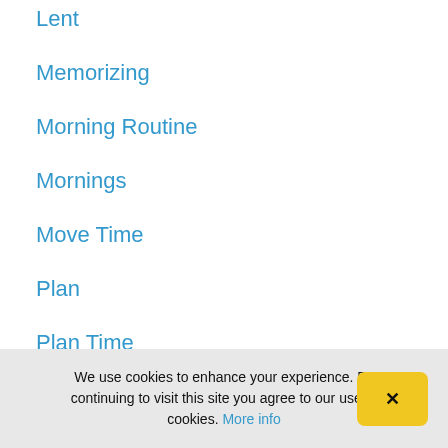Lent
Memorizing
Morning Routine
Mornings
Move Time
Plan
Plan Time
Podcast
We use cookies to enhance your experience. By continuing to visit this site you agree to our use of cookies. More info